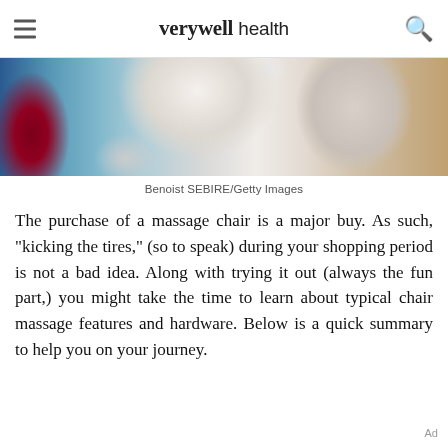verywell health
[Figure (photo): Photo of massage chairs – a red/maroon massage chair on the left and a white/cream massage chair on the right, on a patterned blue floor]
Benoist SEBIRE/Getty Images
The purchase of a massage chair is a major buy. As such, "kicking the tires," (so to speak) during your shopping period is not a bad idea. Along with trying it out (always the fun part,) you might take the time to learn about typical chair massage features and hardware. Below is a quick summary to help you on your journey.
Ad